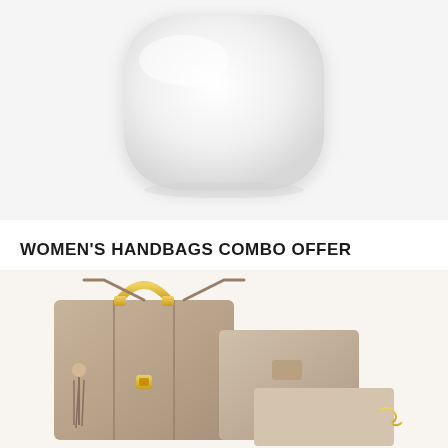[Figure (photo): White rounded wireless earbuds charging case, closed, on white/light grey background]
WOMEN'S HANDBAGS COMBO OFFER
[Figure (photo): Set of three women's handbags in beige/taupe color: a large tote bag with gold-tone handle hardware and tassel, a medium satchel with gold clasp, and a small rectangular crossbody bag with gold chain strap]